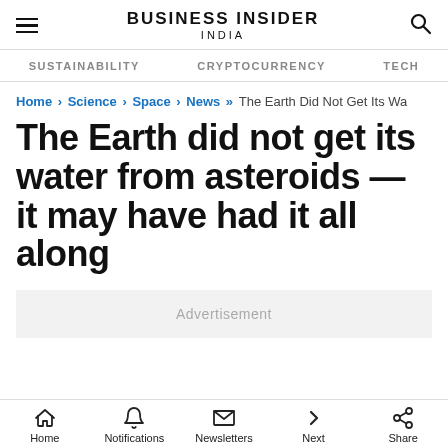BUSINESS INSIDER INDIA
SUSTAINABILITY   CRYPTOCURRENCY   TECH
Home > Science > Space > News >> The Earth Did Not Get Its Wa
The Earth did not get its water from asteroids — it may have had it all along
Advertisement
Home  Notifications  Newsletters  Next  Share